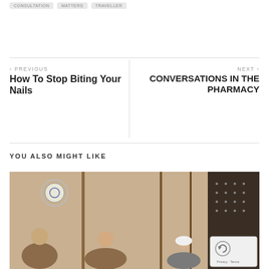CONSULTATION   MATTERS   TRAVELLER
< PREVIOUS
How To Stop Biting Your Nails
NEXT >
CONVERSATIONS IN THE PHARMACY
YOU ALSO MIGHT LIKE
[Figure (photo): Group photo of people in what appears to be a pharmacy or medical setting with a flag and wall decorations visible in the background. A reCAPTCHA widget is overlaid in the bottom right corner.]